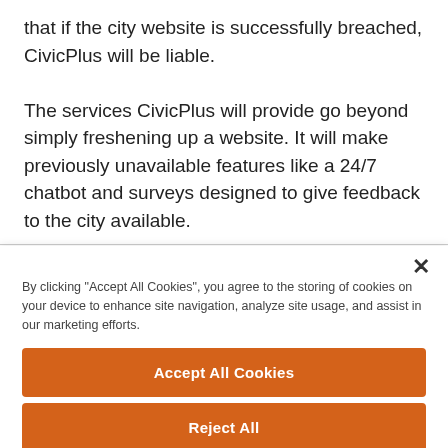that if the city website is successfully breached, CivicPlus will be liable.
The services CivicPlus will provide go beyond simply freshening up a website. It will make previously unavailable features like a 24/7 chatbot and surveys designed to give feedback to the city available.
By clicking "Accept All Cookies", you agree to the storing of cookies on your device to enhance site navigation, analyze site usage, and assist in our marketing efforts.
Accept All Cookies
Reject All
Cookies Settings